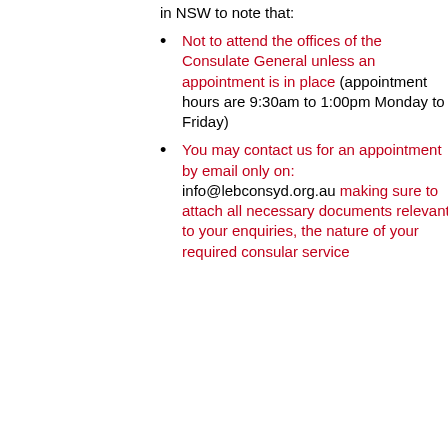in NSW to note that:
Not to attend the offices of the Consulate General unless an appointment is in place (appointment hours are 9:30am to 1:00pm Monday to Friday)
You may contact us for an appointment by email only on: info@lebconsyd.org.au making sure to attach all necessary documents relevant to your enquiries, the nature of your required consular service